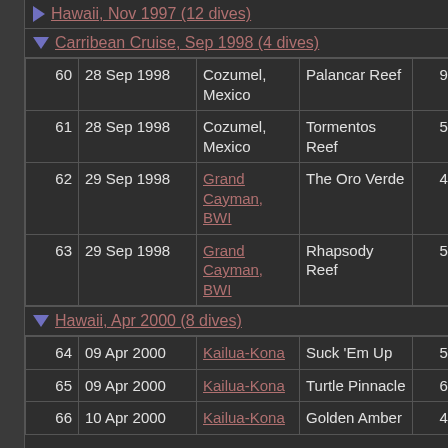Hawaii, Nov 1997 (12 dives)
Carribean Cruise, Sep 1998 (4 dives)
| # | Date | Location | Site | Depth |
| --- | --- | --- | --- | --- |
| 60 | 28 Sep 1998 | Cozumel, Mexico | Palancar Reef | 90' |
| 61 | 28 Sep 1998 | Cozumel, Mexico | Tormentos Reef | 57' |
| 62 | 29 Sep 1998 | Grand Cayman, BWI | The Oro Verde | 48' |
| 63 | 29 Sep 1998 | Grand Cayman, BWI | Rhapsody Reef | 57' |
Hawaii, Apr 2000 (8 dives)
| # | Date | Location | Site | Depth |
| --- | --- | --- | --- | --- |
| 64 | 09 Apr 2000 | Kailua-Kona | Suck 'Em Up | 52' |
| 65 | 09 Apr 2000 | Kailua-Kona | Turtle Pinnacle | 65' |
| 66 | 10 Apr 2000 | Kailua-Kona | Golden Amber | 48' |